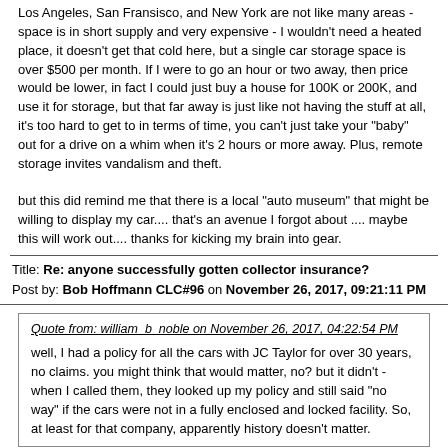Los Angeles, San Fransisco, and New York are not like many areas - space is in short supply and very expensive - I wouldn't need a heated place, it doesn't get that cold here, but a single car storage space is over $500 per month.  If I were to go an hour or two away, then price would be lower, in fact I could just buy a house for 100K or 200K, and use it for storage, but that far away is just like not having the stuff at all, it's too hard to get to in terms of time, you can't just take your "baby" out for a drive on a whim when it's 2 hours or more away.  Plus, remote storage invites vandalism and theft.

but this did remind me that there is a local "auto museum" that might be willing to display my car.... that's an avenue I forgot about .... maybe this will work out....  thanks for kicking my brain into gear.
Title: Re: anyone successfully gotten collector insurance?
Post by: Bob Hoffmann CLC#96 on November 26, 2017, 09:21:11 PM
Quote from: william_b_noble on November 26, 2017, 04:22:54 PM

well, I had a policy for all the cars with JC Taylor for over 30 years, no claims.  you might think that would matter, no?  but it didn't - when I called them, they looked up my policy and still said "no way" if the cars were not in a fully enclosed and locked facility.  So, at least for that company, apparently history doesn't matter.
Title: Re: anyone successfully gotten collector insurance?
Post by: Blade on November 27, 2017, 10:07:22 PM